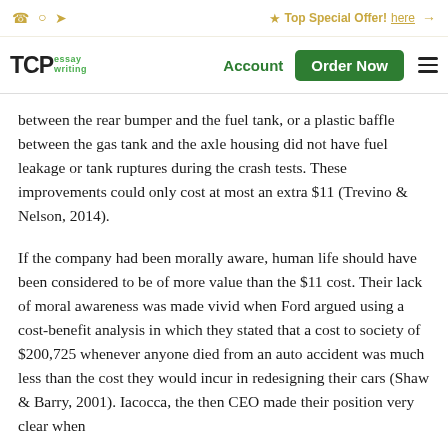Top Special Offer! here →
TCP essay writing | Account | Order Now
between the rear bumper and the fuel tank, or a plastic baffle between the gas tank and the axle housing did not have fuel leakage or tank ruptures during the crash tests. These improvements could only cost at most an extra $11 (Trevino & Nelson, 2014).
If the company had been morally aware, human life should have been considered to be of more value than the $11 cost. Their lack of moral awareness was made vivid when Ford argued using a cost-benefit analysis in which they stated that a cost to society of $200,725 whenever anyone died from an auto accident was much less than the cost they would incur in redesigning their cars (Shaw & Barry, 2001). Iacocca, the then CEO made their position very clear when